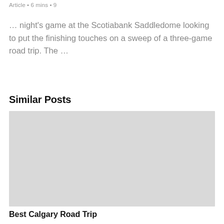Article • 6 mins • 9
… night's game at the Scotiabank Saddledome looking to put the finishing touches on a sweep of a three-game road trip. The …
Similar Posts
[Figure (photo): Gray placeholder image for a similar post]
Best Calgary Road Trip